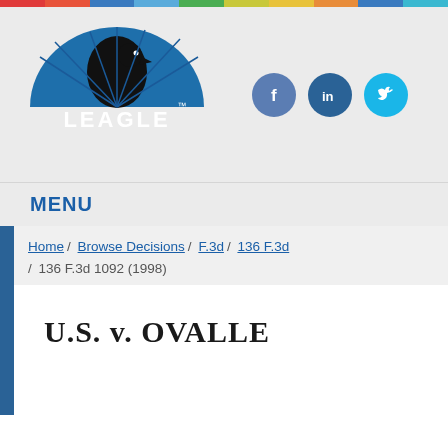[Figure (logo): Leagle.com logo — blue semicircle with eagle silhouette and text LEAGLE TM]
[Figure (infographic): Social media icons: Facebook (blue circle), LinkedIn (darker blue circle), Twitter (cyan circle)]
MENU
Home / Browse Decisions / F.3d / 136 F.3d / 136 F.3d 1092 (1998)
U.S. v. OVALLE